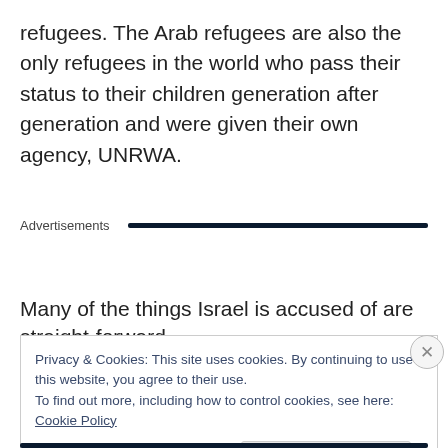refugees. The Arab refugees are also the only refugees in the world who pass their status to their children generation after generation and were given their own agency, UNRWA.
Advertisements
Many of the things Israel is accused of are straight-forward
Privacy & Cookies: This site uses cookies. By continuing to use this website, you agree to their use.
To find out more, including how to control cookies, see here: Cookie Policy
Close and accept